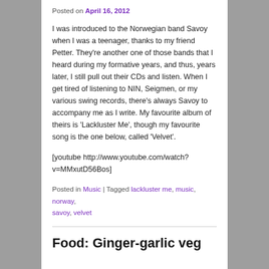Posted on April 16, 2012
I was introduced to the Norwegian band Savoy when I was a teenager, thanks to my friend Petter. They're another one of those bands that I heard during my formative years, and thus, years later, I still pull out their CDs and listen. When I get tired of listening to NIN, Seigmen, or my various swing records, there's always Savoy to accompany me as I write. My favourite album of theirs is 'Lackluster Me', though my favourite song is the one below, called 'Velvet'.
[youtube http://www.youtube.com/watch?v=MMxutD56Bos]
Posted in Music | Tagged lackluster me, music, norway, savoy, velvet
Food: Ginger-garlic veg